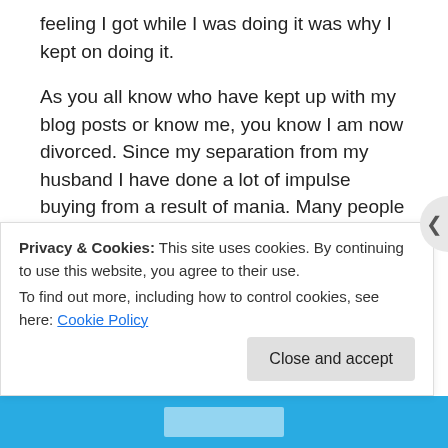feeling I got while I was doing it was why I kept on doing it.
As you all know who have kept up with my blog posts or know me, you know I am now divorced. Since my separation from my husband I have done a lot of impulse buying from a result of mania. Many people may just see it as a shopping addiction, which it is in a way. I spend A LOT of money. I do not do this now, but for a while I was late on my rent every single month because I was using my rent money to buy things. I didn't care if I became homeless, even with my son at home with me and a daughter on the way...
Privacy & Cookies: This site uses cookies. By continuing to use this website, you agree to their use.
To find out more, including how to control cookies, see here: Cookie Policy